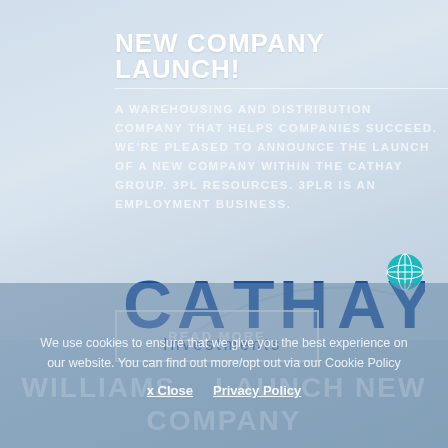NEW COMPANY LAUNCH!
A WAREHOUSING AND DISTRIBUTION COMPANY THAT HELPS COMPANIES SUCCEED. WE'RE PLEASED TO ANNOUNCE THE LAUNCH OF A NEW COMPANY WITHIN THE CATHAY GROUP. 3PL RESOURCES. 3PLR IS AN EMPLOYMENT BUSINESS.
[Figure (logo): CATHAY Investments company logo with globe icon and swoosh]
READ MORE
We use cookies to ensure that we give you the best experience on our website. You can find out more/opt out via our Cookie Policy
x Close   Privacy Policy